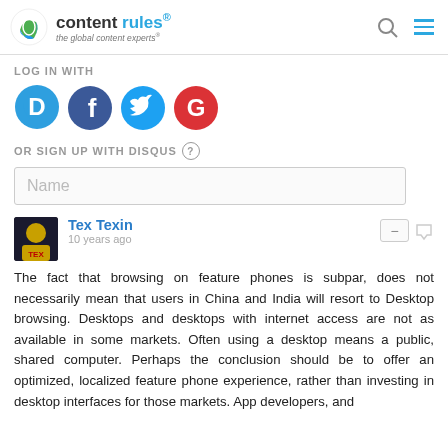content rules® — the global content experts®
LOG IN WITH
[Figure (logo): Social login icons: Disqus (blue D), Facebook (blue f), Twitter (blue bird), Google (red G)]
OR SIGN UP WITH DISQUS ?
Name
Tex Texin
10 years ago
The fact that browsing on feature phones is subpar, does not necessarily mean that users in China and India will resort to Desktop browsing. Desktops and desktops with internet access are not as available in some markets. Often using a desktop means a public, shared computer. Perhaps the conclusion should be to offer an optimized, localized feature phone experience, rather than investing in desktop interfaces for those markets. App developers, and